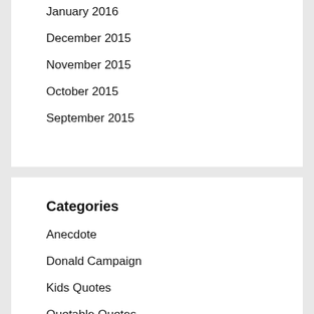January 2016
December 2015
November 2015
October 2015
September 2015
Categories
Anecdote
Donald Campaign
Kids Quotes
Quotable Quotes